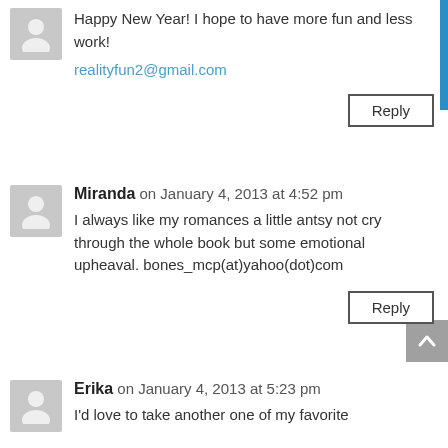Happy New Year! I hope to have more fun and less work!
realityfun2@gmail.com
Miranda on January 4, 2013 at 4:52 pm
I always like my romances a little antsy not cry through the whole book but some emotional upheaval. bones_mcp(at)yahoo(dot)com
Erika on January 4, 2013 at 5:23 pm
I'd love to take another one of my favorite